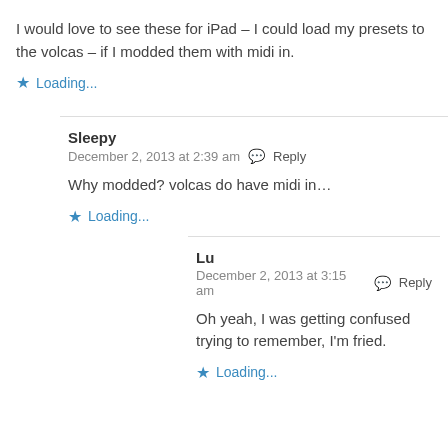I would love to see these for iPad – I could load my presets to the volcas – if I modded them with midi in.
★ Loading...
Sleepy
December 2, 2013 at 2:39 am  Reply
Why modded? volcas do have midi in…
★ Loading...
Lu
December 2, 2013 at 3:15 am  Reply
Oh yeah, I was getting confused trying to remember, I'm fried.
★ Loading...